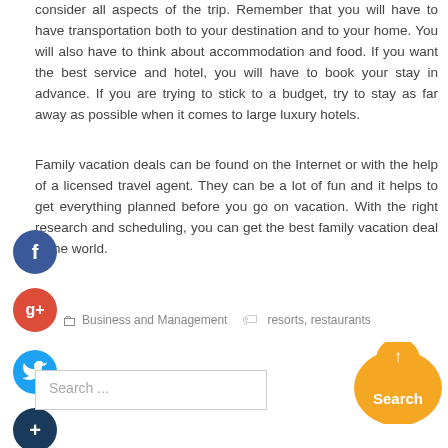consider all aspects of the trip. Remember that you will have to have transportation both to your destination and to your home. You will also have to think about accommodation and food. If you want the best service and hotel, you will have to book your stay in advance. If you are trying to stick to a budget, try to stay as far away as possible when it comes to large luxury hotels.
Family vacation deals can be found on the Internet or with the help of a licensed travel agent. They can be a lot of fun and it helps to get everything planned before you go on vacation. With the right research and scheduling, you can get the best family vacation deal in the world.
[Figure (other): Social sharing icons: Facebook (blue circle), Google+ (red circle), Twitter (blue bird circle), Plus/add (dark blue circle)]
Business and Management   resorts, restaurants
[Figure (other): Search input box with placeholder text 'Search ...' and a yellow search button]